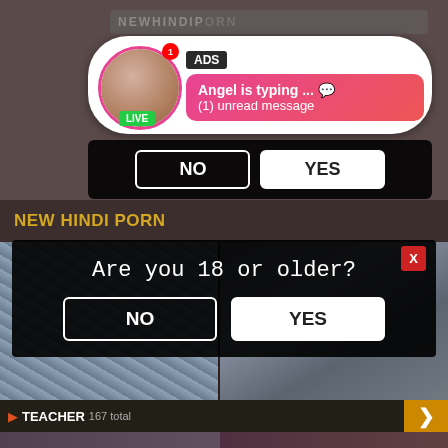[Figure (screenshot): Adult website screenshot showing a notification popup with 'ADS' tag, avatar with LIVE badge, and message 'Angel is typing ... (1) unread message' in pink gradient box]
ADS
Angel is typing ... 💬
(1) unread message
NO
YES
NEW HINDI PORN
[Figure (photo): Two thumbnail images of adult content]
TEACHER
167 total
[Figure (screenshot): Age verification overlay dialog with close X button, question and two buttons]
Are you 18 or older?
NO
YES